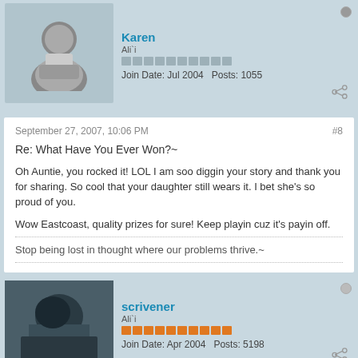Karen
Ali`i
Join Date: Jul 2004   Posts: 1055
September 27, 2007, 10:06 PM
#8
Re: What Have You Ever Won?~
Oh Auntie, you rocked it! LOL I am soo diggin your story and thank you for sharing. So cool that your daughter still wears it. I bet she's so proud of you.
Wow Eastcoast, quality prizes for sure! Keep playin cuz it's payin off.
Stop being lost in thought where our problems thrive.~
scrivener
Ali`i
Join Date: Apr 2004   Posts: 5198